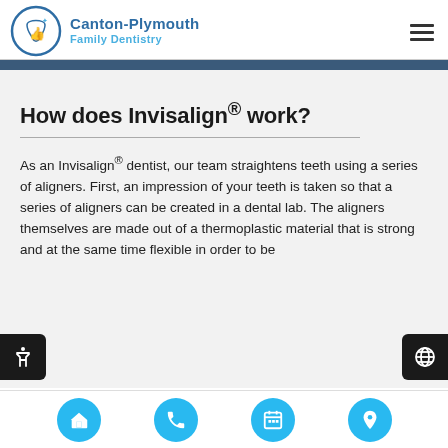Canton-Plymouth Family Dentistry
How does Invisalign® work?
As an Invisalign® dentist, our team straightens teeth using a series of aligners. First, an impression of your teeth is taken so that a series of aligners can be created in a dental lab. The aligners themselves are made out of a thermoplastic material that is strong and at the same time flexible in order to be comfortable and easy to wear inside of
[Figure (logo): Canton-Plymouth Family Dentistry logo with circular tooth/thumbs-up icon in blue]
[Figure (infographic): Bottom navigation bar with four cyan circular buttons: home, phone, calendar, location pin icons]